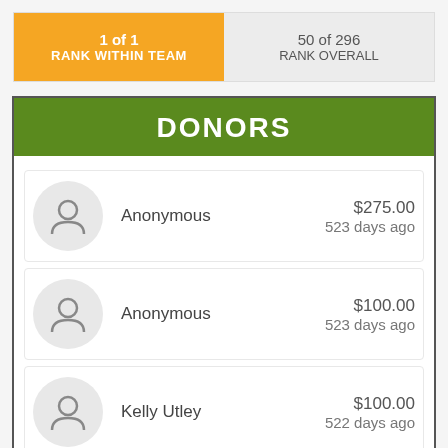| RANK WITHIN TEAM | RANK OVERALL |
| --- | --- |
| 1 of 1 | 50 of 296 |
DONORS
Anonymous $275.00 523 days ago
Anonymous $100.00 523 days ago
Kelly Utley $100.00 522 days ago
Louise Hoffmann $100.00 526 days ago